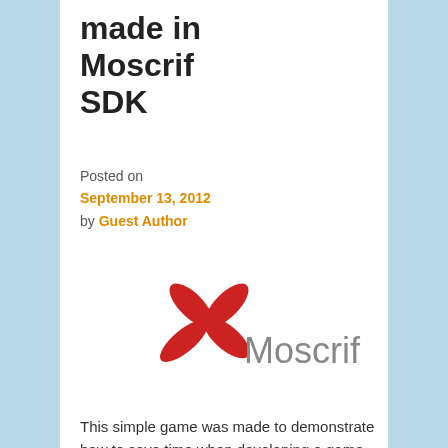made in Moscrif SDK
Posted on September 13, 2012 by Guest Author
[Figure (logo): Moscrif logo: red stylized leaf/dragonfly icon with grey 'Moscrif' text]
This simple game was made to demonstrate how to save time when developing a game for several different mobile platforms like iOS, Android or Bada. Because the number of